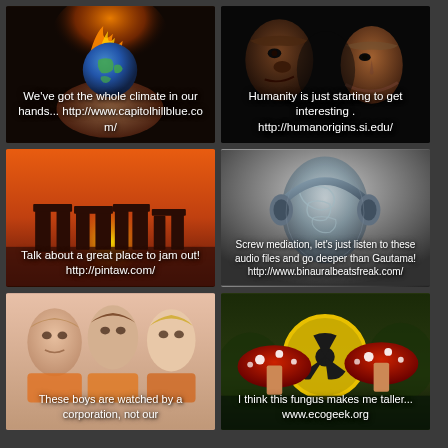[Figure (photo): Globe on fire held in hand with text overlay about climate]
[Figure (photo): Evolution of humans - profile view from ape to modern human]
[Figure (photo): Stonehenge at sunset with orange sky]
[Figure (photo): Transparent skull with headphones - brain/meditation image]
[Figure (photo): Group of boys/children]
[Figure (photo): Red mushrooms with radiation symbol and yellow warning sign]